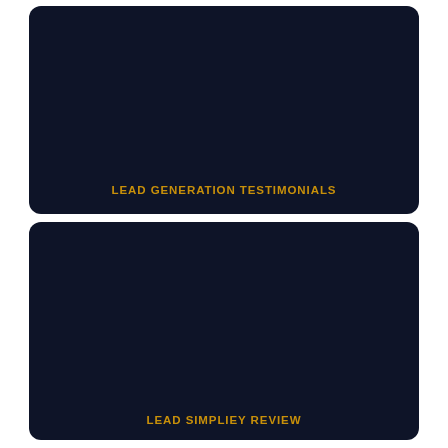[Figure (screenshot): Dark navy rounded rectangle card with gold text label 'LEAD GENERATION TESTIMONIALS' at the bottom center.]
LEAD GENERATION TESTIMONIALS
[Figure (screenshot): Dark navy rounded rectangle card with gold text label 'LEAD SIMPLIEY REVIEW' at the bottom center.]
LEAD SIMPLIEY REVIEW